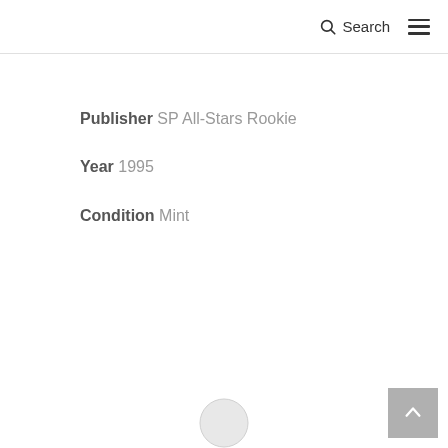Search
Publisher SP All-Stars Rookie
Year 1995
Condition Mint